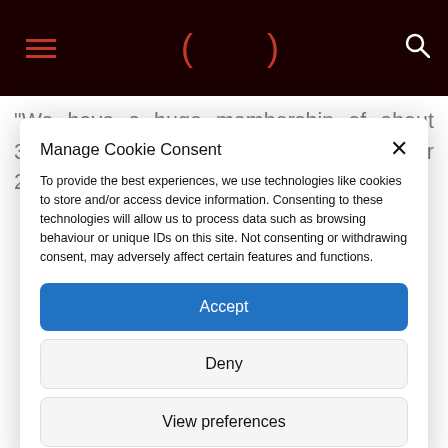Navigation header with hamburger menu, logo parentheses, and search icon
“We have a huge membership of about 300-plus paid-up members for the year 2022, and among those we have
Manage Cookie Consent
To provide the best experiences, we use technologies like cookies to store and/or access device information. Consenting to these technologies will allow us to process data such as browsing behaviour or unique IDs on this site. Not consenting or withdrawing consent, may adversely affect certain features and functions.
Accept
Deny
View preferences